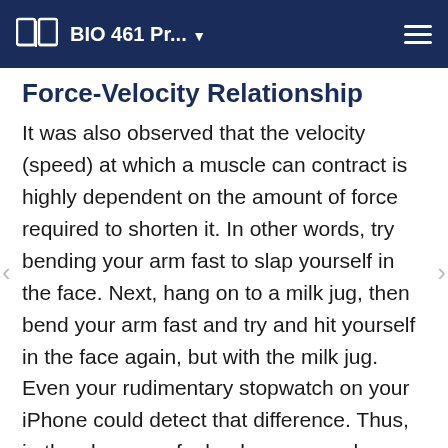BIO 461 Pr...
Force-Velocity Relationship
It was also observed that the velocity (speed) at which a muscle can contract is highly dependent on the amount of force required to shorten it. In other words, try bending your arm fast to slap yourself in the face. Next, hang on to a milk jug, then bend your arm fast and try and hit yourself in the face again, but with the milk jug. Even your rudimentary stopwatch on your iPhone could detect that difference. Thus, in the absence of a load, your muscle can contract the fastest. This speed is proportional to how quickly the myosin heads can utilize ATP (point B in the graph below). The maximum rate of contraction will be